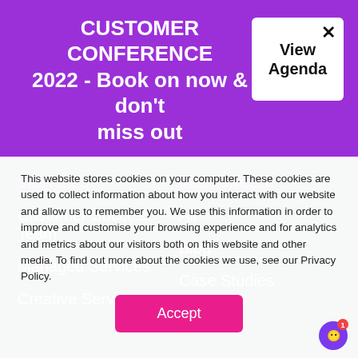CUSTOMER CONFERENCE 2022 - Book on now & don't miss out
[Figure (screenshot): View Agenda button with close X in white rounded box on purple banner]
SERVICES
RESOURCES
Customer Success Team
All
Managed Services
Blog
Creative Services
Case Studies
This website stores cookies on your computer. These cookies are used to collect information about how you interact with our website and allow us to remember you. We use this information in order to improve and customise your browsing experience and for analytics and metrics about our visitors both on this website and other media. To find out more about the cookies we use, see our Privacy Policy.
Accept